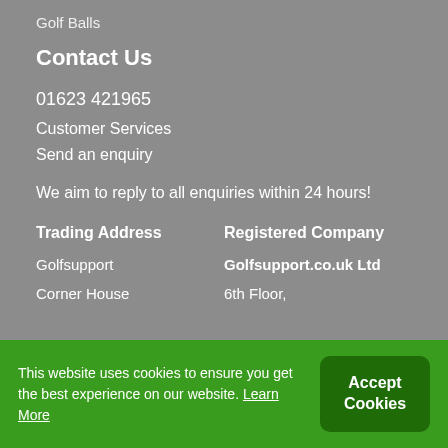Golf Balls
Contact Us
01623 421965
Customer Services
Send an enquiry
We aim to reply to all enquiries within 24 hours!
Trading Address
Registered Company
Golfsupport
Golfsupport.co.uk Ltd
Corner House
6th Floor,
This website uses cookies to ensure you get the best experience on our website. Learn More
Accept Cookies